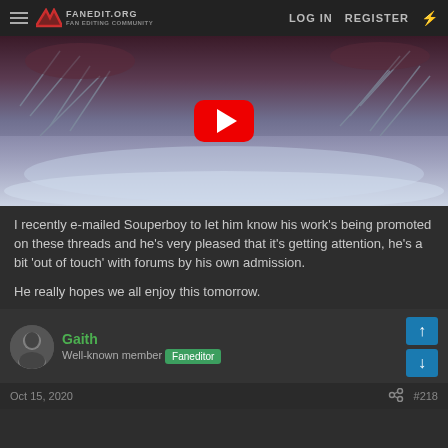FANEDIT.ORG  LOG IN  REGISTER
[Figure (screenshot): YouTube video thumbnail showing a dramatic sci-fi scene with destroyed metallic structures in a stormy sea/sky environment. A large red YouTube play button is overlaid in the center.]
I recently e-mailed Souperboy to let him know his work's being promoted on these threads and he's very pleased that it's getting attention, he's a bit 'out of touch' with forums by his own admission.
He really hopes we all enjoy this tomorrow.
Gaith
Well-known member  Faneditor
Oct 15, 2020  #218